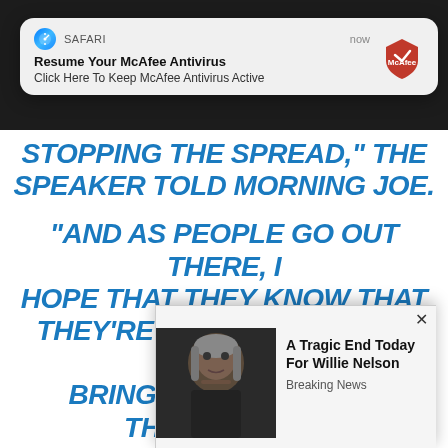[Figure (screenshot): Safari browser push notification popup: 'Resume Your McAfee Antivirus - Click Here To Keep McAfee Antivirus Active' with McAfee logo, labeled SAFARI and 'now']
STOPPING THE SPREAD," THE SPEAKER TOLD MORNING JOE.
“AND AS PEOPLE GO OUT THERE, I HOPE THAT THEY KNOW THAT THEY’RE TAKING A RISK, AS WELL AS BRINGING HOME – BUT THERE’S BEEN SOME GOOD SOCIAL DISTANCING AND ... ND ONE ... RE VE ... ED.
[Figure (screenshot): Ad popup with photo of Willie Nelson and text 'A Tragic End Today For Willie Nelson - Breaking News']